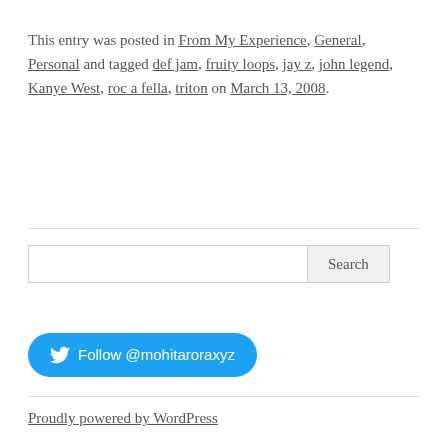This entry was posted in From My Experience, General, Personal and tagged def jam, fruity loops, jay z, john legend, Kanye West, roc a fella, triton on March 13, 2008.
[Figure (other): Search bar with text input and Search button]
[Figure (other): Twitter Follow button: Follow @mohitaroraxyz]
Proudly powered by WordPress